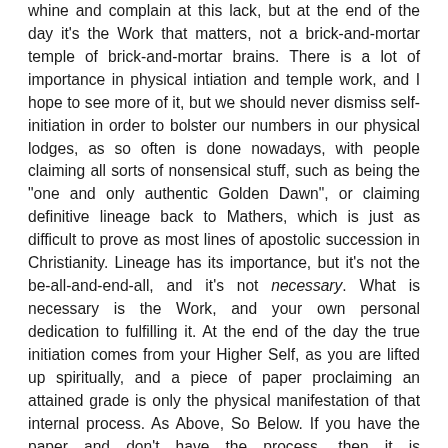whine and complain at this lack, but at the end of the day it's the Work that matters, not a brick-and-mortar temple of brick-and-mortar brains. There is a lot of importance in physical intiation and temple work, and I hope to see more of it, but we should never dismiss self-initiation in order to bolster our numbers in our physical lodges, as so often is done nowadays, with people claiming all sorts of nonsensical stuff, such as being the "one and only authentic Golden Dawn", or claiming definitive lineage back to Mathers, which is just as difficult to prove as most lines of apostolic succession in Christianity. Lineage has its importance, but it's not the be-all-and-end-all, and it's not necessary. What is necessary is the Work, and your own personal dedication to fulfilling it. At the end of the day the true initiation comes from your Higher Self, as you are lifted up spiritually, and a piece of paper proclaiming an attained grade is only the physical manifestation of that internal process. As Above, So Below. If you have the paper and don't have the process, then it is meaningless, and you can consider the initiation to be rendered null and void. No one can confer enlightenment to another - we each have our own experience of Gnosis, an experience which makes us "more than human", and no